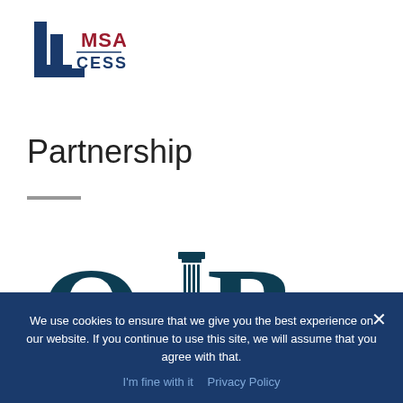[Figure (logo): MSA CESS logo with stylized double-L bracket in dark blue and red text]
Partnership
[Figure (logo): OBed logo in dark teal serif font with a pillar icon between the O and B]
We use cookies to ensure that we give you the best experience on our website. If you continue to use this site, we will assume that you agree with that.
I'm fine with it   Privacy Policy